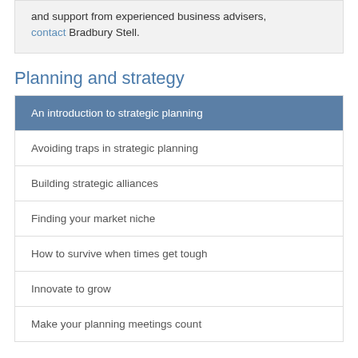and support from experienced business advisers, contact Bradbury Stell.
Planning and strategy
An introduction to strategic planning
Avoiding traps in strategic planning
Building strategic alliances
Finding your market niche
How to survive when times get tough
Innovate to grow
Make your planning meetings count